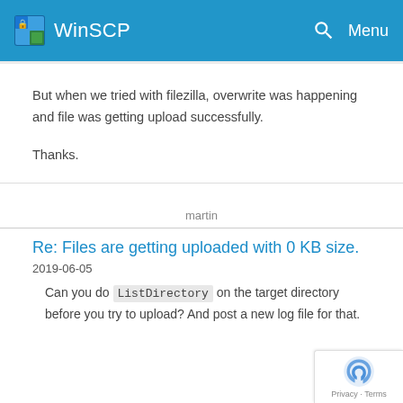WinSCP — Menu
But when we tried with filezilla, overwrite was happening and file was getting upload successfully.
Thanks.
martin
Re: Files are getting uploaded with 0 KB size.
2019-06-05
Can you do ListDirectory on the target directory before you try to upload? And post a new log file for that.